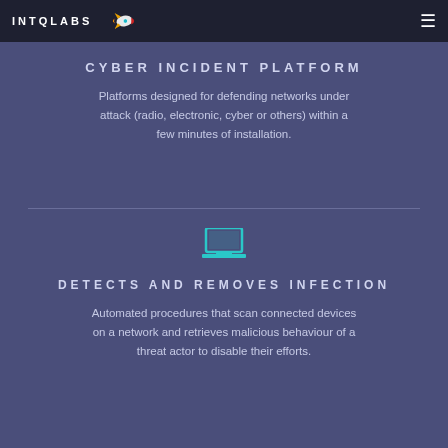INTQLABS
CYBER INCIDENT PLATFORM
Platforms designed for defending networks under attack (radio, electronic, cyber or others) within a few minutes of installation.
[Figure (illustration): Teal laptop/computer monitor icon]
DETECTS AND REMOVES INFECTION
Automated procedures that scan connected devices on a network and retrieves malicious behaviour of a threat actor to disable their efforts.